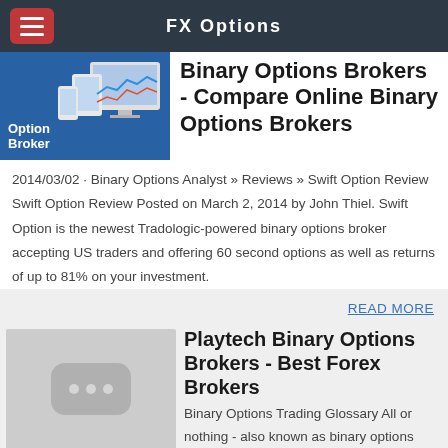FX Options
[Figure (screenshot): Thumbnail image showing 'Options Brokers' label on blue background with device screenshots]
Binary Options Brokers - Compare Online Binary Options Brokers
2014/03/02 · Binary Options Analyst » Reviews » Swift Option Review Swift Option Review Posted on March 2, 2014 by John Thiel. Swift Option is the newest Tradologic-powered binary options broker accepting US traders and offering 60 second options as well as returns of up to 81% on your investment.
READ MORE
[Figure (illustration): Gray placeholder image with three dots icon]
Playtech Binary Options Brokers - Best Forex Brokers
Binary Options Trading Glossary All or nothing - also known as binary options (BO). Affiliates, BO affiliates - a program that allows site owners to partner with brokers in marketing their services for a fee. Best BO